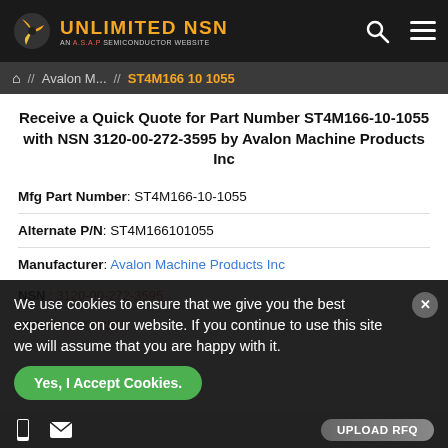UNLIMITED NSN — AN A.S.A.P SEMICONDUCTOR WEBSITE
// Avalon M... // ST4M166 10 1055
Receive a Quick Quote for Part Number ST4M166-10-1055 with NSN 3120-00-272-3595 by Avalon Machine Products Inc
Mfg Part Number: ST4M166-10-1055
Alternate P/N: ST4M166101055
Manufacturer: Avalon Machine Products Inc
NSN: 3120-00-272-3595
NIIN: 002-72-3595
We use cookies to ensure that we give you the best experience on our website. If you continue to use this site we will assume that you are happy with it.